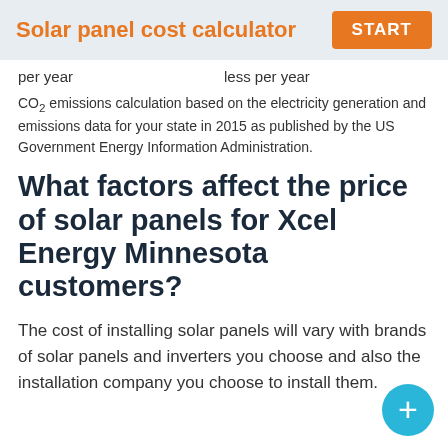Solar panel cost calculator  START
per year		less per year
CO₂ emissions calculation based on the electricity generation and emissions data for your state in 2015 as published by the US Government Energy Information Administration.
What factors affect the price of solar panels for Xcel Energy Minnesota customers?
The cost of installing solar panels will vary with brands of solar panels and inverters you choose and also the installation company you choose to install them.